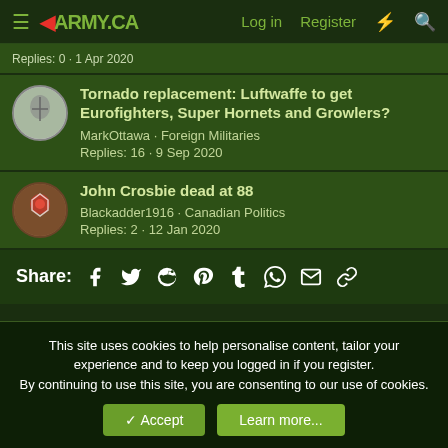Army.ca · Log in · Register
Replies: 0 · 1 Apr 2020
Tornado replacement: Luftwaffe to get Eurofighters, Super Hornets and Growlers?
MarkOttawa · Foreign Militaries
Replies: 16 · 9 Sep 2020
John Crosbie dead at 88
Blackadder1916 · Canadian Politics
Replies: 2 · 12 Jan 2020
Share:
This site uses cookies to help personalise content, tailor your experience and to keep you logged in if you register.
By continuing to use this site, you are consenting to our use of cookies.